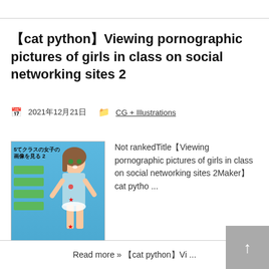【cat python】Viewing pornographic pictures of girls in class on social networking sites 2
2021年12月21日   CG + Illustrations
[Figure (illustration): Thumbnail image showing anime-style illustration of a girl, with Japanese text at top and price tag '100円' at bottom right]
Not rankedTitle【Viewing pornographic pictures of girls in class on social networking sites 2Maker】cat pytho ...
Read more » 【cat python】Vi ...